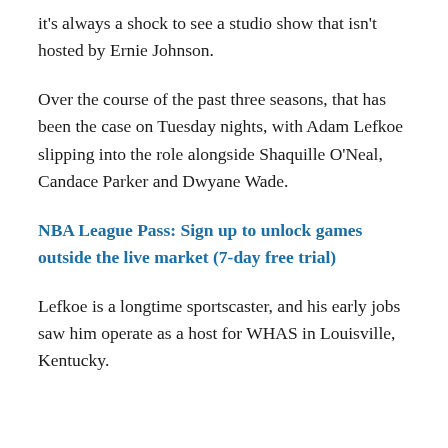it's always a shock to see a studio show that isn't hosted by Ernie Johnson.
Over the course of the past three seasons, that has been the case on Tuesday nights, with Adam Lefkoe slipping into the role alongside Shaquille O'Neal, Candace Parker and Dwyane Wade.
NBA League Pass: Sign up to unlock games outside the live market (7-day free trial)
Lefkoe is a longtime sportscaster, and his early jobs saw him operate as a host for WHAS in Louisville, Kentucky.